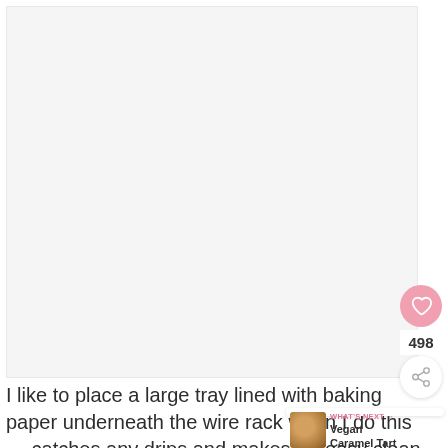[Figure (photo): Large white/light gray area representing a food photo placeholder on a recipe blog page]
I like to place a large tray lined with baking paper underneath the wire rack when I do this — catches any drips and makes for easy clean up!
[Figure (other): UI overlay: heart/save button showing 498 saves, share button, and 'WHAT'S NEXT' panel showing Vegan Caramel Tart]